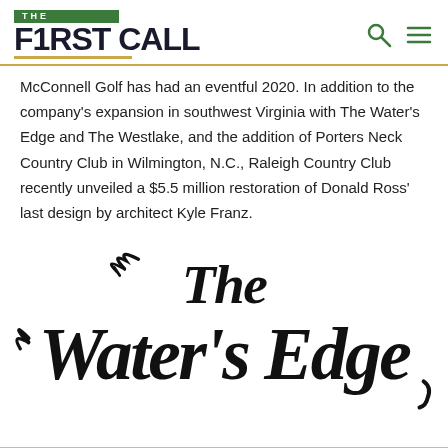THE FIRST CALL
McConnell Golf has had an eventful 2020. In addition to the company's expansion in southwest Virginia with The Water's Edge and The Westlake, and the addition of Porters Neck Country Club in Wilmington, N.C., Raleigh Country Club recently unveiled a $5.5 million restoration of Donald Ross' last design by architect Kyle Franz.
[Figure (logo): The Water's Edge decorative script logo in black]